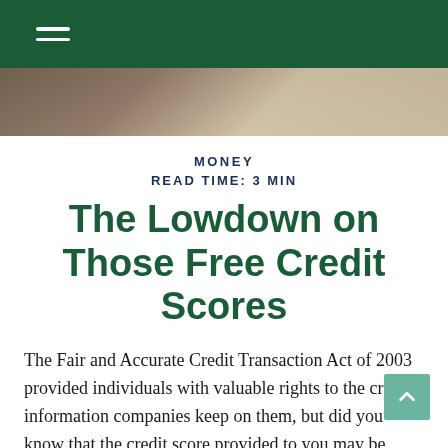≡
[Figure (photo): Partial photo strip showing a wooden desk surface with some document or object]
MONEY
READ TIME: 3 MIN
The Lowdown on Those Free Credit Scores
The Fair and Accurate Credit Transaction Act of 2003 provided individuals with valuable rights to the credit information companies keep on them, but did you know that the credit score provided to you may be different than the one provided to lenders?
The first thing you should know is that you have a right